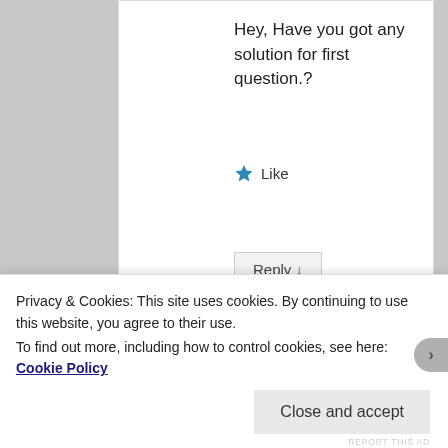Hey, Have you got any solution for first question.?
Like
Reply ↓
Advertisements
[Figure (screenshot): Longreads advertisement banner: red background with white border. Logo: circle with 'L' and text 'LONGREADS'. Tagline: 'The best stories on the web – ours, and everyone else's.']
REPORT THIS AD
Privacy & Cookies: This site uses cookies. By continuing to use this website, you agree to their use.
To find out more, including how to control cookies, see here: Cookie Policy
Close and accept
REPORT THIS AD